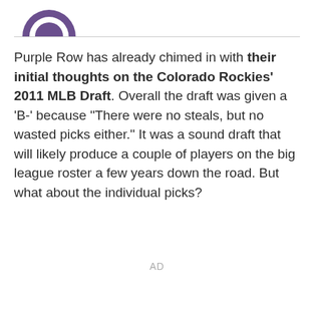[Figure (logo): Purple Row logo (partial, top-left corner)]
Purple Row has already chimed in with their initial thoughts on the Colorado Rockies' 2011 MLB Draft. Overall the draft was given a 'B-' because "There were no steals, but no wasted picks either." It was a sound draft that will likely produce a couple of players on the big league roster a few years down the road. But what about the individual picks?
AD